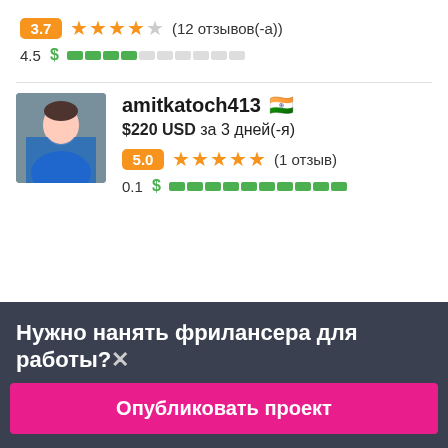3.7 ★★★★☆ (12 отзывов(-а))
4.5 $ ████░░░░░░
amitkatoch413 🇮🇳
$220 USD за 3 дней(-я)
5.0 ★★★★★ (1 отзыв)
0.1 $ ██████████
Нужно нанять фрилансера для работы?✕
Опубликовать проект